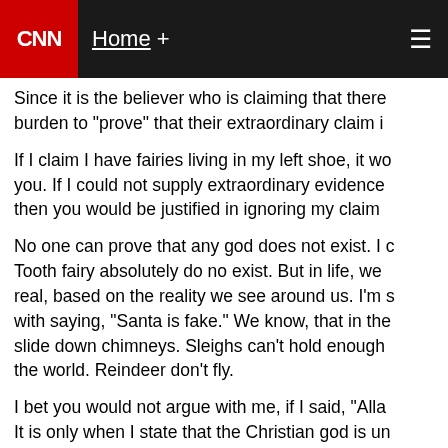CNN  Home +
Since it is the believer who is claiming that there burden to "prove" that their extraordinary claim i
If I claim I have fairies living in my left shoe, it wo you. If I could not supply extraordinary evidence then you would be justified in ignoring my claim
No one can prove that any god does not exist. I c Tooth fairy absolutely do no exist. But in life, we real, based on the reality we see around us. I'm s with saying, "Santa is fake." We know, that in the slide down chimneys. Sleighs can't hold enough the world. Reindeer don't fly.
I bet you would not argue with me, if I said, "Alla It is only when I state that the Christian god is un huffy.
But, verily I say unto you: Use the "eyes" of an ou your god. Ask yourself if the claims of the bible a